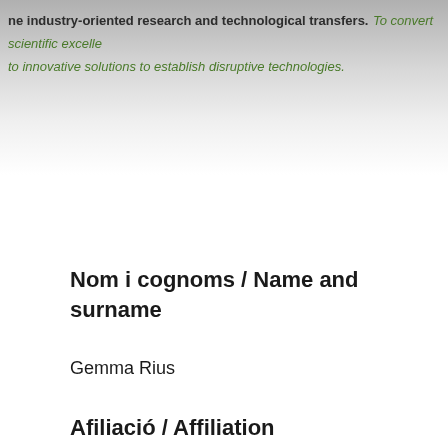ne industry-oriented research and technological transfers. To convert scientific excelle to innovative solutions to establish disruptive technologies.
Nom i cognoms / Name and surname
Gemma Rius
Afiliació / Affiliation